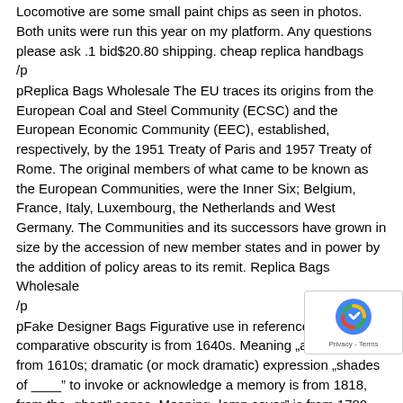Locomotive are some small paint chips as seen in photos. Both units were run this year on my platform. Any questions please ask .1 bid$20.80 shipping. cheap replica handbags
/p
pReplica Bags Wholesale The EU traces its origins from the European Coal and Steel Community (ECSC) and the European Economic Community (EEC), established, respectively, by the 1951 Treaty of Paris and 1957 Treaty of Rome. The original members of what came to be known as the European Communities, were the Inner Six; Belgium, France, Italy, Luxembourg, the Netherlands and West Germany. The Communities and its successors have grown in size by the accession of new member states and in power by the addition of policy areas to its remit. Replica Bags Wholesale
/p
pFake Designer Bags Figurative use in reference to comparative obscurity is from 1640s. Meaning „a ghost” is from 1610s; dramatic (or mock dramatic) expression „shades of ____” to invoke or acknowledge a memory is from 1818, from the „ghost” sense. Meaning „lamp cover” is from 1780. Fake Designer Bags
/p
phigh quality replica handbags She then portrayed Hele Durant in the 1989 CBS television film Mike Hammer: Murder